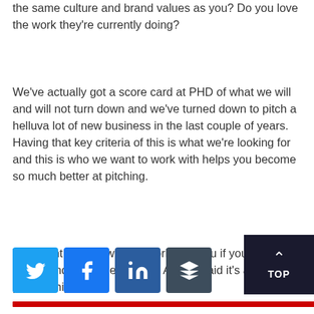the same culture and brand values as you? Do you love the work they're currently doing?
We've actually got a score card at PHD of what we will and will not turn down and we've turned down to pitch a helluva lot of new business in the last couple of years. Having that key criteria of this is what we're looking for and this is who we want to work with helps you become so much better at pitching.
The client doesn't want to work with you if you're not the right brand fit for them either. As you said it's a partnership
[Figure (other): Social share buttons: Twitter (blue), Facebook (blue), LinkedIn (dark blue), Buffer (dark grey). Red horizontal bar below buttons. TOP button (dark navy) in bottom right corner with upward arrow.]